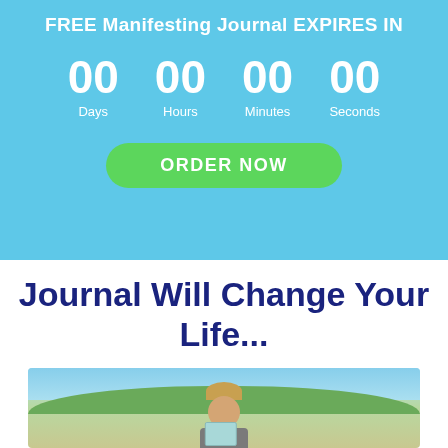FREE Manifesting Journal EXPIRES IN
00 Days  00 Hours  00 Minutes  00 Seconds
ORDER NOW
Journal Will Change Your Life...
[Figure (photo): Woman smiling and holding a journal/book, standing on a deck or balcony with trees and sky visible in the background]